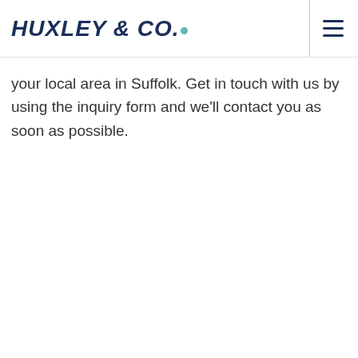HUXLEY & Co.
your local area in Suffolk. Get in touch with us by using the inquiry form and we'll contact you as soon as possible.